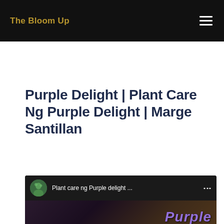The Bloom Up
Purple Delight | Plant Care Ng Purple Delight | Marge Santillan
[Figure (screenshot): YouTube video embed showing 'Plant care ng Purple delight ...' with a thumbnail featuring purple and yellow text overlay and a red play button]